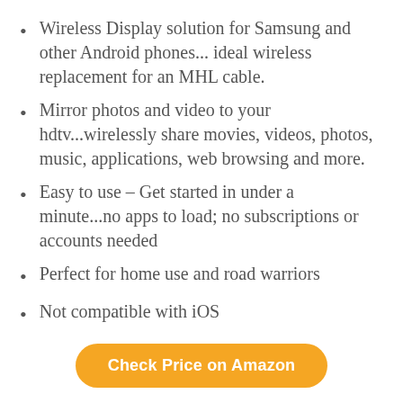Wireless Display solution for Samsung and other Android phones... ideal wireless replacement for an MHL cable.
Mirror photos and video to your hdtv...wirelessly share movies, videos, photos, music, applications, web browsing and more.
Easy to use – Get started in under a minute...no apps to load; no subscriptions or accounts needed
Perfect for home use and road warriors
Not compatible with iOS
Check Price on Amazon